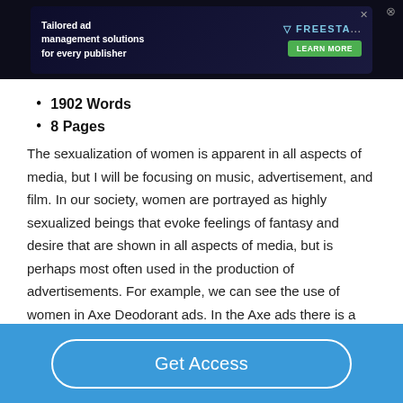[Figure (screenshot): Advertisement banner for Freestar ad management solutions with dark background, green figure, and Learn More button]
1902 Words
8 Pages
The sexualization of women is apparent in all aspects of media, but I will be focusing on music, advertisement, and film. In our society, women are portrayed as highly sexualized beings that evoke feelings of fantasy and desire that are shown in all aspects of media, but is perhaps most often used in the production of advertisements. For example, we can see the use of women in Axe Deodorant ads. In the Axe ads there is a male model that is accompanied by an attractive female, who seems to be attracted to the male simply because of his deodorant....
Get Access